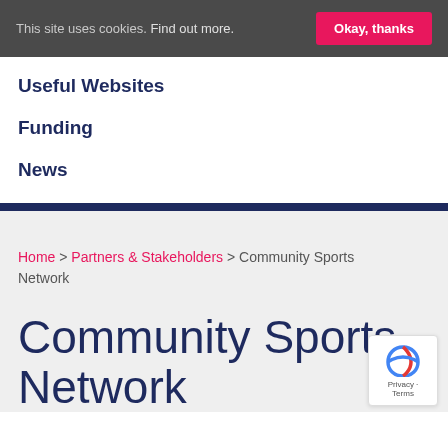This site uses cookies. Find out more.  Okay, thanks
Useful Websites
Funding
News
Home > Partners & Stakeholders > Community Sports Network
Community Sports Network